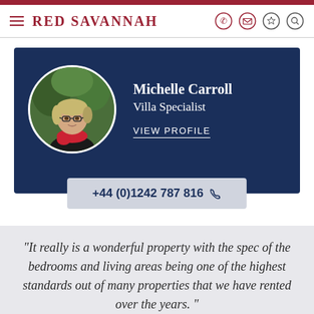Red Savannah
[Figure (photo): Profile card for Michelle Carroll, Villa Specialist, on a dark navy background with circular portrait photo and phone number +44 (0)1242 787 816]
"It really is a wonderful property with the spec of the bedrooms and living areas being one of the highest standards out of many properties that we have rented over the years."